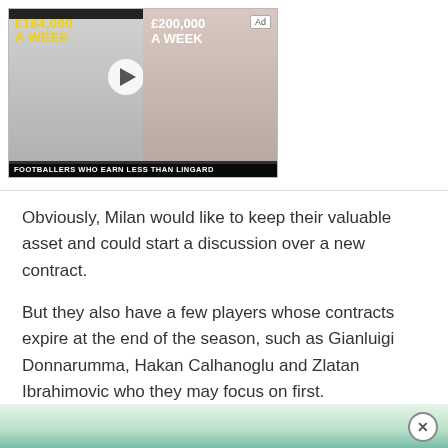[Figure (other): Video thumbnail showing two footballers with text overlays '£184,000 A WEEK' and '£200,000 A WEEK' with caption bar 'FOOTBALLERS WHO EARN LESS THAN LINGARD' and an Ad badge]
Obviously, Milan would like to keep their valuable asset and could start a discussion over a new contract.
But they also have a few players whose contracts expire at the end of the season, such as Gianluigi Donnarumma, Hakan Calhanoglu and Zlatan Ibrahimovic who they may focus on first.